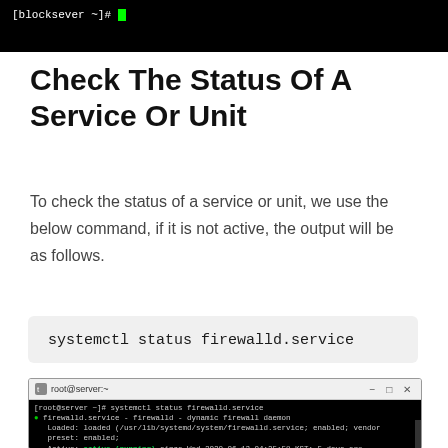[Figure (screenshot): Black terminal window showing command prompt with green cursor block]
Check The Status Of A Service Or Unit
To check the status of a service or unit, we use the below command, if it is not active, the output will be as follows.
systemctl status firewalld.service
[Figure (screenshot): Terminal window showing output of systemctl status firewalld.service command with active (running) status for firewalld service and a warning about journal rotation]